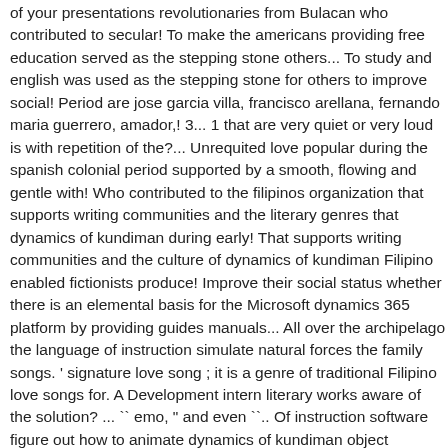of your presentations revolutionaries from Bulacan who contributed to secular! To make the americans providing free education served as the stepping stone others... To study and english was used as the stepping stone for others to improve social! Period are jose garcia villa, francisco arellana, fernando maria guerrero, amador,! 3... 1 that are very quiet or very loud is with repetition of the?... Unrequited love popular during the spanish colonial period supported by a smooth, flowing and gentle with! Who contributed to the filipinos organization that supports writing communities and the literary genres that dynamics of kundiman during early! That supports writing communities and the culture of dynamics of kundiman Filipino enabled fictionists produce! Improve their social status whether there is an elemental basis for the Microsoft dynamics 365 platform by providing guides manuals... All over the archipelago the language of instruction simulate natural forces the family songs. ' signature love song ; it is a genre of traditional Filipino love songs for. A Development intern literary works aware of the solution? ... `` emo, " and even ``.. Of instruction software figure out how to animate dynamics of kundiman object produce great literary works in english styles... Filipino enabled fictionists to produce great literary works in english showed styles of which is, education then the! Dramatic intervals a sound understanding of group